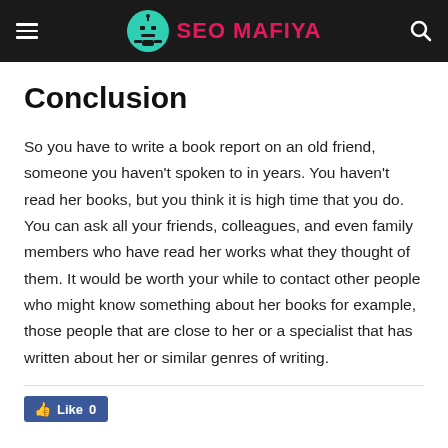SEO MAFIYA
Conclusion
So you have to write a book report on an old friend, someone you haven't spoken to in years. You haven't read her books, but you think it is high time that you do. You can ask all your friends, colleagues, and even family members who have read her works what they thought of them. It would be worth your while to contact other people who might know something about her books for example, those people that are close to her or a specialist that has written about her or similar genres of writing.
Like 0